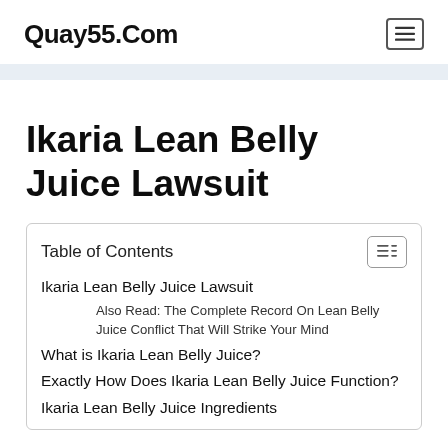Quay55.Com
Ikaria Lean Belly Juice Lawsuit
| Table of Contents |
| --- |
| Ikaria Lean Belly Juice Lawsuit |
| Also Read: The Complete Record On Lean Belly Juice Conflict That Will Strike Your Mind |
| What is Ikaria Lean Belly Juice? |
| Exactly How Does Ikaria Lean Belly Juice Function? |
| Ikaria Lean Belly Juice Ingredients |